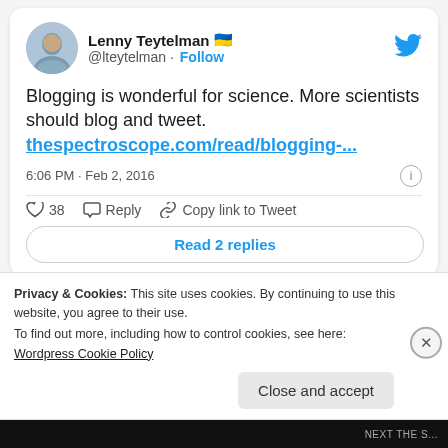[Figure (screenshot): Tweet from Lenny Teytelman (@lteytelman) with avatar photo, Ukrainian flag emoji, Follow button, Twitter bird logo. Tweet text: 'Blogging is wonderful for science. More scientists should blog and tweet. thespectroscope.com/read/blogging-…' Posted 6:06 PM · Feb 2, 2016. Actions: 38 likes, Reply, Copy link to Tweet. Read 2 replies button.]
Or was O'Connor's criticism directed against the so
Privacy & Cookies: This site uses cookies. By continuing to use this website, you agree to their use.
To find out more, including how to control cookies, see here: Wordpress Cookie Policy
Close and accept